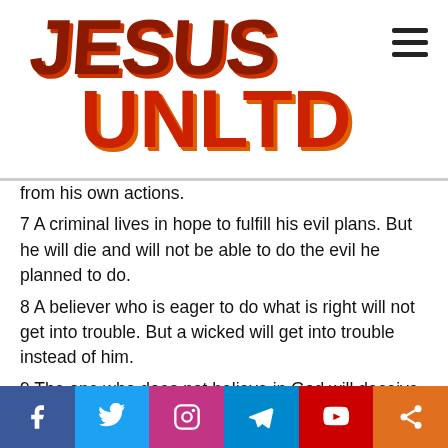[Figure (logo): Jesus Unltd logo with 'JESUS' in dark red/brown bold Impact font and 'UNLTD' in bright red/orange bold Impact font below and offset right]
from his own actions.
7 A criminal lives in hope to fulfill his evil plans. But he will die and will not be able to do the evil he planned to do.
8 A believer who is eager to do what is right will not get into trouble. But a wicked will get into trouble instead of him.
9 The one who does not believe in God will deceive another person with hypocrisy in order to destroy him by his words. But a believer who knows the truth and is eager to do what is right will not believe the flattering words and will not fall into deception.
10 The whole city rejoices when believers succeed and do ... die, people also cannot hide
[Figure (infographic): Social media share bar with Facebook (blue), Twitter (light blue), Instagram (pink/purple), Telegram (blue), YouTube (red), Share (orange) icons]